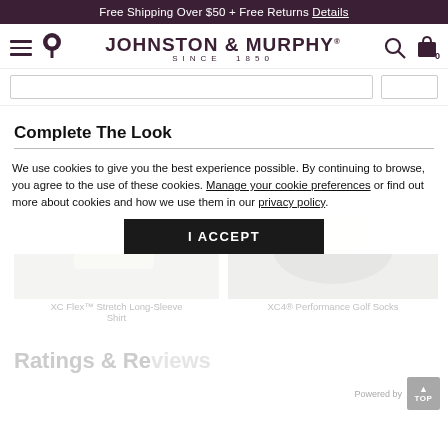Free Shipping Over $50 + Free Returns Details
[Figure (screenshot): Johnston & Murphy logo with navigation icons (hamburger menu, location pin, search, bag with count 0)]
Complete The Look
[Figure (photo): White dress shirt product photo - XC Flex Stretch Long-Sleeve Shirt]
[Figure (photo): XC4 Performance Golf Socks product photo (partially visible)]
We use cookies to give you the best experience possible. By continuing to browse, you agree to the use of these cookies. Manage your cookie preferences or find out more about cookies and how we use them in our privacy policy.
I ACCEPT
XC Flex™ Stretch Long-Sleeve Shirt
XC4® Performance Golf Socks
Ratings & Reviews
Powered by